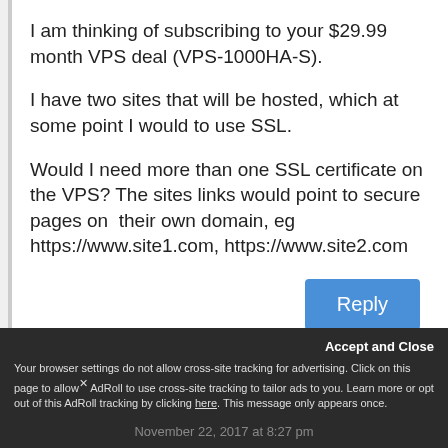I am thinking of subscribing to your $29.99 month VPS deal (VPS-1000HA-S).

I have two sites that will be hosted, which at some point I would to use SSL.

Would I need more than one SSL certificate on the VPS? The sites links would point to secure pages on  their own domain, eg https://www.site1.com, https://www.site2.com
Accept and Close
Your browser settings do not allow cross-site tracking for advertising. Click on this page to allow AdRoll to use cross-site tracking to tailor ads to you. Learn more or opt out of this AdRoll tracking by clicking here. This message only appears once.
November 22, 2017 at 8:27 pm